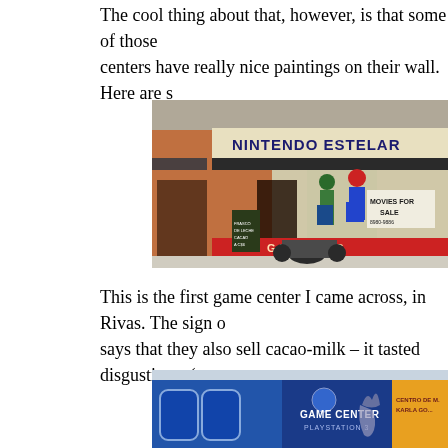The cool thing about that, however, is that some of those centers have really nice paintings on their wall. Here are s
[Figure (photo): Photo of a building exterior with Nintendo Estelar signage, painted mural of Mario Bros characters, a sign saying MOVIES FOR SALE, and a motorcycle parked in front]
This is the first game center I came across, in Rivas. The sign o says that they also sell cacao-milk – it tasted disgusting :-(
[Figure (photo): Photo of a Game Center PlayStation 3 storefront with blue walls and Centro de... Karla... sign on orange background]